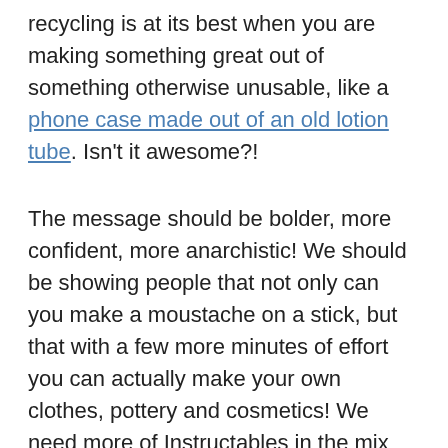recycling is at its best when you are making something great out of something otherwise unusable, like a phone case made out of an old lotion tube. Isn't it awesome?!
The message should be bolder, more confident, more anarchistic! We should be showing people that not only can you make a moustache on a stick, but that with a few more minutes of effort you can actually make your own clothes, pottery and cosmetics! We need more of Instructables in the mix and less of Women's Own! We need to repossess crafting, and this time do it properly and move beyond the miniature versions of cupcakes